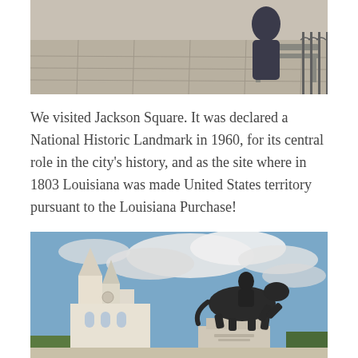[Figure (photo): Top portion of a photo showing a person sitting on a bench at Jackson Square, New Orleans, with stone pavement visible.]
We visited Jackson Square. It was declared a National Historic Landmark in 1960, for its central role in the city's history, and as the site where in 1803 Louisiana was made United States territory pursuant to the Louisiana Purchase!
[Figure (photo): Photo of the equestrian statue of Andrew Jackson in Jackson Square, New Orleans, with Saint Louis Cathedral visible in the background against a blue sky with clouds.]